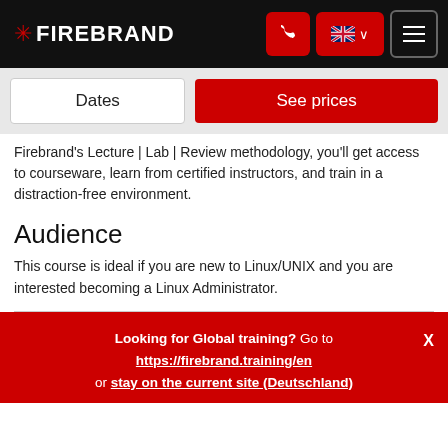FIREBRAND
Firebrand's Lecture | Lab | Review methodology, you'll get access to courseware, learn from certified instructors, and train in a distraction-free environment.
Audience
This course is ideal if you are new to Linux/UNIX and you are interested becoming a Linux Administrator.
Looking for Global training? Go to https://firebrand.training/en or stay on the current site (Deutschland)